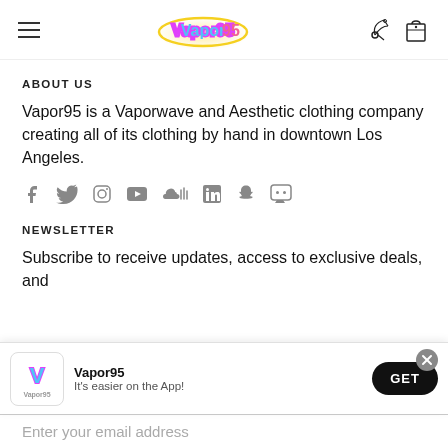Vapor95 navigation header with hamburger menu, logo, and cart/account icons
ABOUT US
Vapor95 is a Vaporwave and Aesthetic clothing company creating all of its clothing by hand in downtown Los Angeles.
[Figure (infographic): Row of social media icons: Facebook, Twitter, Instagram, YouTube, SoundCloud, LinkedIn, Snapchat, Discord]
NEWSLETTER
Subscribe to receive updates, access to exclusive deals, and
[Figure (infographic): App install prompt popup: Vapor95 logo, app name 'Vapor95', subtitle 'It's easier on the App!', GET button, close X button]
Enter your email address